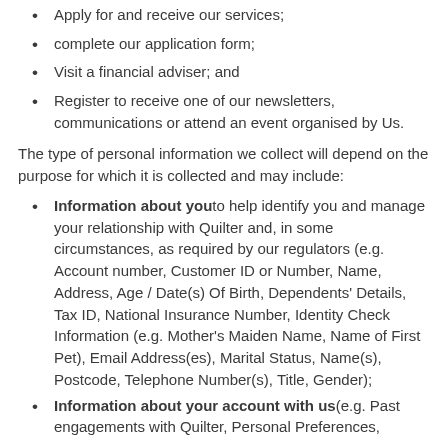Apply for and receive our services;
complete our application form;
Visit a financial adviser; and
Register to receive one of our newsletters, communications or attend an event organised by Us.
The type of personal information we collect will depend on the purpose for which it is collected and may include:
Information about you to help identify you and manage your relationship with Quilter and, in some circumstances, as required by our regulators (e.g. Account number, Customer ID or Number, Name, Address, Age / Date(s) Of Birth, Dependents' Details, Tax ID, National Insurance Number, Identity Check Information (e.g. Mother's Maiden Name, Name of First Pet), Email Address(es), Marital Status, Name(s), Postcode, Telephone Number(s), Title, Gender);
Information about your account with us (e.g. Past engagements with Quilter, Personal Preferences,